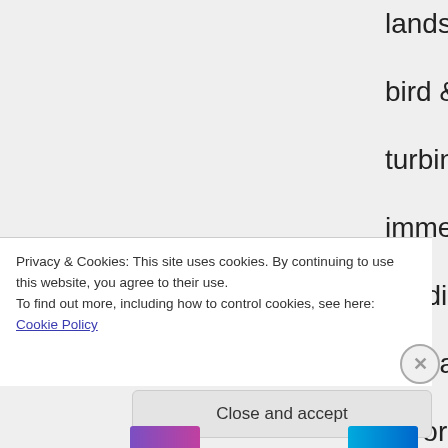landscape-wrecking, bird & bat killing wind turbines, you immediately stop reading for content and assume they favor Koch Industries, Trump and all the rest. You're so stuck on climate being the
Privacy & Cookies: This site uses cookies. By continuing to use this website, you agree to their use.
To find out more, including how to control cookies, see here: Cookie Policy
Close and accept